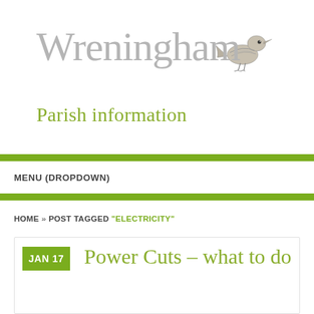Wreningham
Parish information
MENU (DROPDOWN)
HOME » POST TAGGED "ELECTRICITY"
JAN 17
Power Cuts – what to do